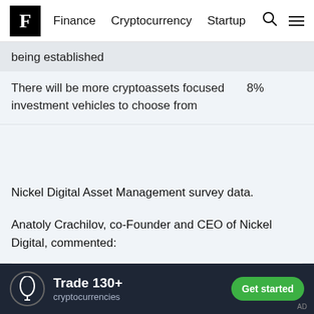F | Finance Cryptocurrency Startup
| being established |  |
| There will be more cryptoassets focused investment vehicles to choose from | 8% |
Nickel Digital Asset Management survey data.
Anatoly Crachilov, co-Founder and CEO of Nickel Digital, commented:
“The number of institutional investors and
Trade 130+ cryptocurrencies | Get started | AD